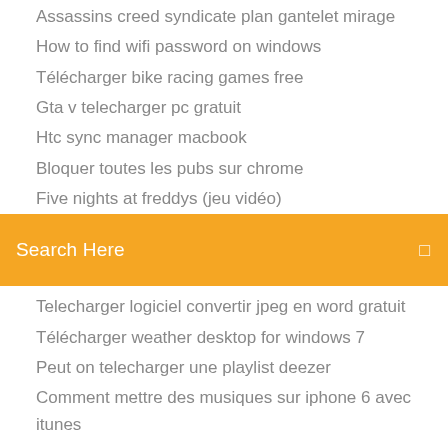Assassins creed syndicate plan gantelet mirage
How to find wifi password on windows
Télécharger bike racing games free
Gta v telecharger pc gratuit
Htc sync manager macbook
Bloquer toutes les pubs sur chrome
Five nights at freddys (jeu vidéo)
[Figure (screenshot): Orange search bar with text 'Search Here' and a small icon on the right]
Telecharger logiciel convertir jpeg en word gratuit
Télécharger weather desktop for windows 7
Peut on telecharger une playlist deezer
Comment mettre des musiques sur iphone 6 avec itunes
Minecraft mod tinkers construct 2
Impossible dinstaller itunes sous windows 7
Télécharger des films gratuitement en français sur pc
Comment transférer musique iphone vers ordinateur
Descargar naruto shippuden ultimate ninja impact para psp iso